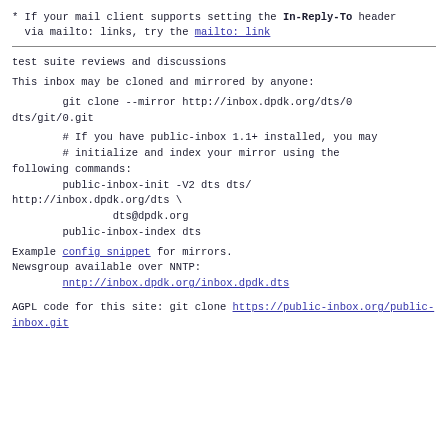* If your mail client supports setting the In-Reply-To header
  via mailto: links, try the mailto: link
test suite reviews and discussions
This inbox may be cloned and mirrored by anyone:
git clone --mirror http://inbox.dpdk.org/dts/0
dts/git/0.git
# If you have public-inbox 1.1+ installed, you may
        # initialize and index your mirror using the
following commands:
        public-inbox-init -V2 dts dts/
http://inbox.dpdk.org/dts \
                dts@dpdk.org
        public-inbox-index dts
Example config snippet for mirrors.
Newsgroup available over NNTP:
        nntp://inbox.dpdk.org/inbox.dpdk.dts
AGPL code for this site: git clone https://public-inbox.org/public-inbox.git